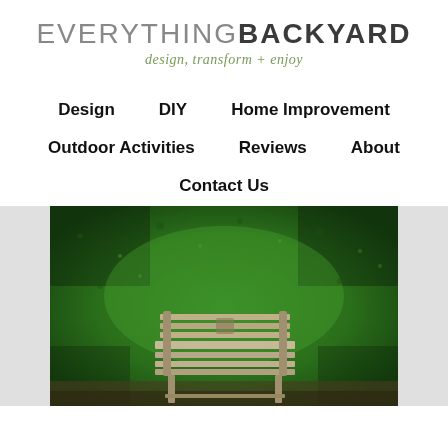[Figure (logo): Everything Backyard logo with tagline 'design, transform + enjoy']
Design    DIY    Home Improvement
Outdoor Activities    Reviews    About
Contact Us
[Figure (photo): A wooden bench against a green textured grass/moss wall, with grey side panels on the left and right edges]